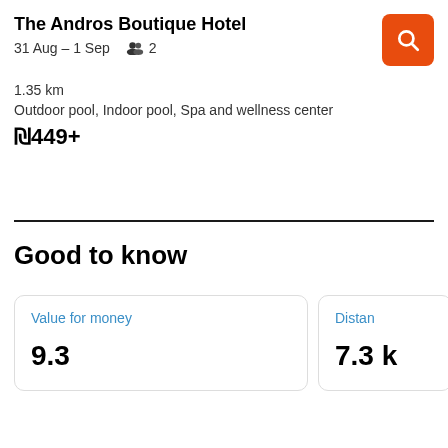The Andros Boutique Hotel
31 Aug – 1 Sep   👥 2
1.35 km
Outdoor pool, Indoor pool, Spa and wellness center
₪449+
Good to know
Value for money
9.3
Distan…
7.3 k…